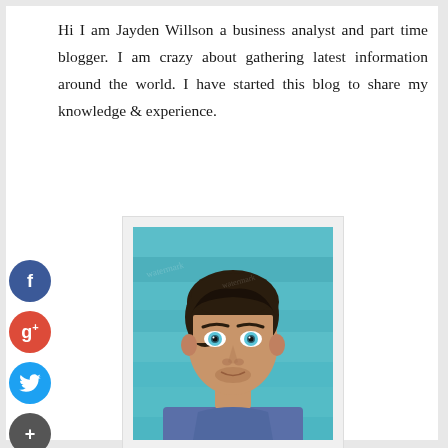Hi I am Jayden Willson a business analyst and part time blogger. I am crazy about gathering latest information around the world. I have started this blog to share my knowledge & experience.
[Figure (photo): Portrait photo of a young man with dark hair and blue eyes wearing a blue t-shirt, photographed against a teal/turquoise painted wood background]